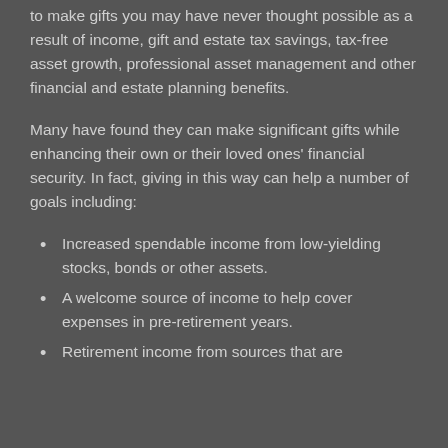to make gifts you may have never thought possible as a result of income, gift and estate tax savings, tax-free asset growth, professional asset management and other financial and estate planning benefits.
Many have found they can make significant gifts while enhancing their own or their loved ones' financial security. In fact, giving in this way can help a number of goals including:
Increased spendable income from low-yielding stocks, bonds or other assets.
A welcome source of income to help cover expenses in pre-retirement years.
Retirement income from sources that are